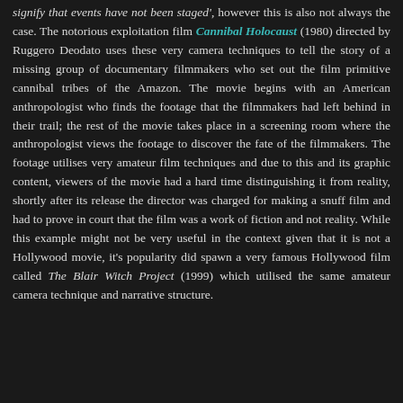signify that events have not been staged', however this is also not always the case. The notorious exploitation film Cannibal Holocaust (1980) directed by Ruggero Deodato uses these very camera techniques to tell the story of a missing group of documentary filmmakers who set out the film primitive cannibal tribes of the Amazon. The movie begins with an American anthropologist who finds the footage that the filmmakers had left behind in their trail; the rest of the movie takes place in a screening room where the anthropologist views the footage to discover the fate of the filmmakers. The footage utilises very amateur film techniques and due to this and its graphic content, viewers of the movie had a hard time distinguishing it from reality, shortly after its release the director was charged for making a snuff film and had to prove in court that the film was a work of fiction and not reality. While this example might not be very useful in the context given that it is not a Hollywood movie, it's popularity did spawn a very famous Hollywood film called The Blair Witch Project (1999) which utilised the same amateur camera technique and narrative structure.